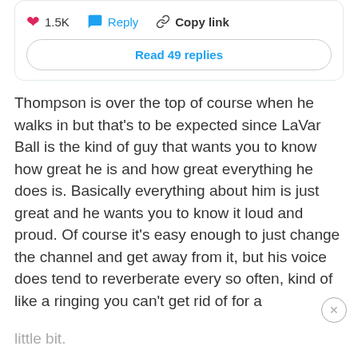1.5K  Reply  Copy link
Read 49 replies
Thompson is over the top of course when he walks in but that's to be expected since LaVar Ball is the kind of guy that wants you to know how great he is and how great everything he does is. Basically everything about him is just great and he wants you to know it loud and proud. Of course it's easy enough to just change the channel and get away from it, but his voice does tend to reverberate every so often, kind of like a ringing you can't get rid of for a little bit.